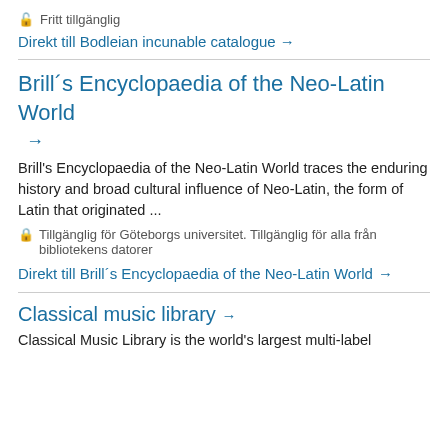🔓 Fritt tillgänglig
Direkt till Bodleian incunable catalogue →
Brill´s Encyclopaedia of the Neo-Latin World →
Brill's Encyclopaedia of the Neo-Latin World traces the enduring history and broad cultural influence of Neo-Latin, the form of Latin that originated ...
🔒 Tillgänglig för Göteborgs universitet. Tillgänglig för alla från bibliotekens datorer
Direkt till Brill´s Encyclopaedia of the Neo-Latin World →
Classical music library →
Classical Music Library is the world's largest multi-label